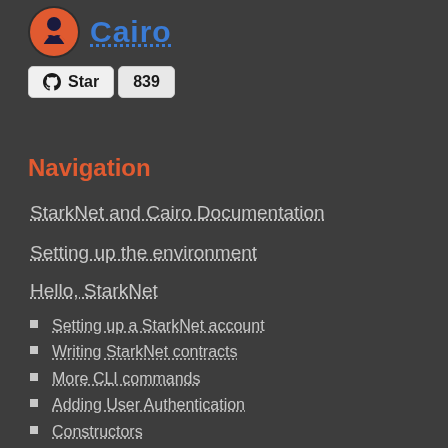Cairo
[Figure (logo): Cairo programming language logo — orange and dark circular icon with stylized figure]
⭐ Star  839
Navigation
StarkNet and Cairo Documentation
Setting up the environment
Hello, StarkNet
Setting up a StarkNet account
Writing StarkNet contracts
More CLI commands
Adding User Authentication
Constructors
More Features
Calling another contract